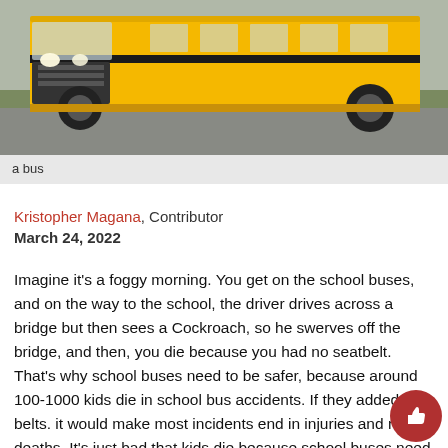[Figure (photo): A yellow school bus photographed from the front-left angle, driving on a road with grass visible in the background. The bus has its headlights on.]
a bus
Kristopher Magana, Contributor
March 24, 2022
Imagine it’s a foggy morning. You get on the school buses, and on the way to the school, the driver drives across a bridge but then sees a Cockroach, so he swerves off the bridge, and then, you die because you had no seatbelt. That’s why school buses need to be safer, because around 100-1000 kids die in school bus accidents. If they added seat belts. it would make most incidents end in injuries and no deaths. It’s just bad that kids die because school buses need better safety equipment.